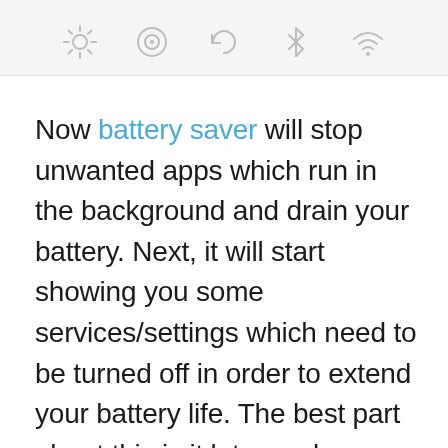[Figure (screenshot): Partial screenshot showing a row of settings/status icons (brightness, focus, rotate, bluetooth, wifi) on a light grey background, partially cropped at top]
Now battery saver will stop unwanted apps which run in the background and drain your battery. Next, it will start showing you some services/settings which need to be turned off in order to extend your battery life. The best part about this is it lets you know how much minutes can be extended by turning off a particular service.